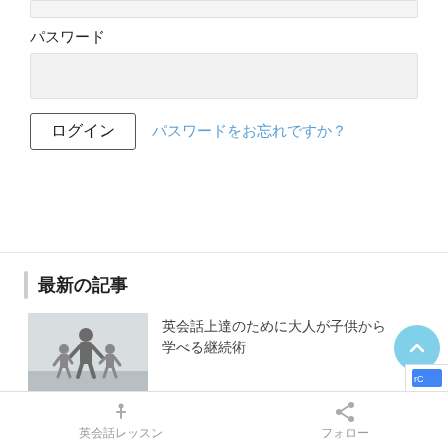パスワード
ログイン　パスワードをお忘れですか？
最新の記事
[Figure (photo): A father walking with two young children on a path, viewed from behind in an outdoor setting with a muted blue-gray sky.]
英会話上達のために大人が子供から学べる継続術
英会話レッスン　フォロー